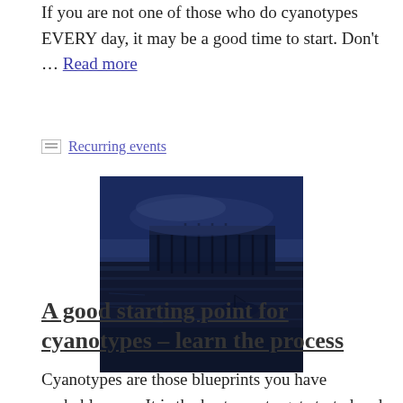If you are not one of those who do cyanotypes EVERY day, it may be a good time to start. Don't … Read more
Recurring events
[Figure (photo): Cyanotype photograph of a pier/dock scene with water and a small boat, rendered in deep blue tones]
A good starting point for cyanotypes – learn the process
Cyanotypes are those blueprints you have probably seen. It is the best way to get started and learn alternative photographic processes. The process is easy to learn but